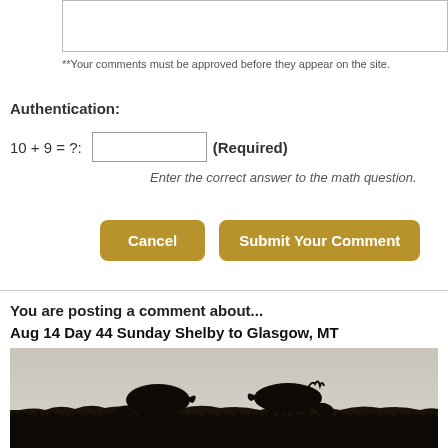**Your comments must be approved before they appear on the site.
Authentication:
10 + 9 = ?:  (Required)
Enter the correct answer to the math question.
Cancel  Submit Your Comment
You are posting a comment about...
Aug 14 Day 44 Sunday Shelby to Glasgow, MT
[Figure (photo): Silhouette of two horses grazing in a field at dusk/dawn, with a light sky background and dark vegetation in the foreground]